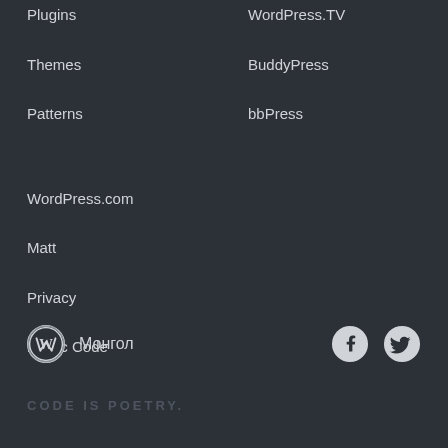Plugins
Themes
Patterns
WordPress.TV
BuddyPress
bbPress
WordPress.com
Matt
Privacy
Public Code
Монгол
CODE IS POETRY.